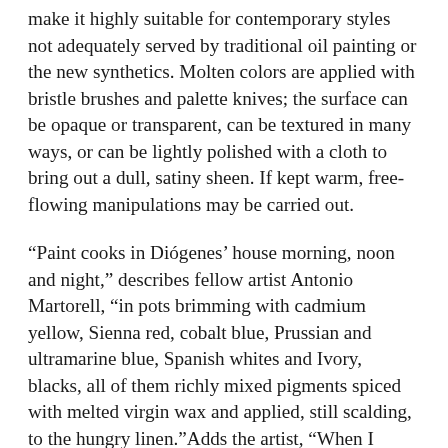make it highly suitable for contemporary styles not adequately served by traditional oil painting or the new synthetics. Molten colors are applied with bristle brushes and palette knives; the surface can be opaque or transparent, can be textured in many ways, or can be lightly polished with a cloth to bring out a dull, satiny sheen. If kept warm, free-flowing manipulations may be carried out.
“Paint cooks in Diógenes’ house morning, noon and night,” describes fellow artist Antonio Martorell, “in pots brimming with cadmium yellow, Sienna red, cobalt blue, Prussian and ultramarine blue, Spanish whites and Ivory, blacks, all of them richly mixed pigments spiced with melted virgin wax and applied, still scalding, to the hungry linen.”Adds the artist, “When I stand over my encaustic mix heating in the melting pot, I can see and smell the blending of the crystal damar varnish with the stand oils. I watch and breathe in the fragrant bees’ wax as it coheres with the dry pigment or oil colors. When I apply the mix on the linen or found canvas, the linen starts absorbing it...